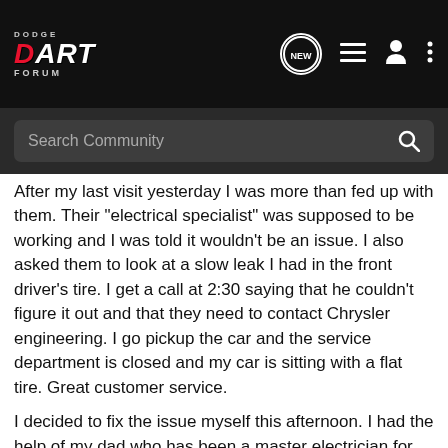Dodge Dart Forum
After my last visit yesterday I was more than fed up with them. Their "electrical specialist" was supposed to be working and I was told it wouldn't be an issue. I also asked them to look at a slow leak I had in the front driver's tire. I get a call at 2:30 saying that he couldn't figure it out and that they need to contact Chrysler engineering. I go pickup the car and the service department is closed and my car is sitting with a flat tire. Great customer service.
I decided to fix the issue myself this afternoon. I had the help of my dad who has been a master electrician for the past 30 years. I opened up the harness to find that the power wire to the racetrack and the wire to the trunk switch was broken. This explains why my trunk light and racetrack wasn't working. I soldered [image] up.
[Figure (other): Hexagonal geometric pattern overlay at bottom of page, grey tones]